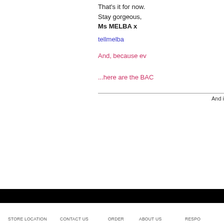That's it for now.
Stay gorgeous,
Ms MELBA x
tellmelba
And, because ev
...here are the BAC
And i
STORE LOCATION   CONTACT US   ORDER   ABOUT US   RESPO